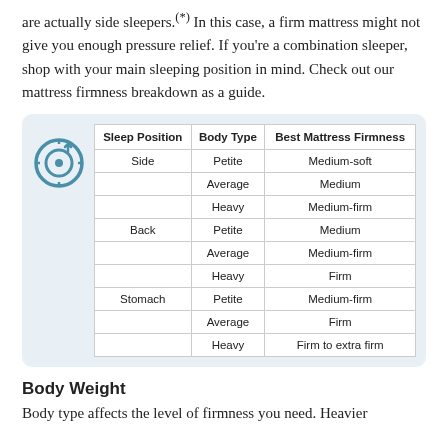are actually side sleepers.[*] In this case, a firm mattress might not give you enough pressure relief. If you're a combination sleeper, shop with your main sleeping position in mind. Check out our mattress firmness breakdown as a guide.
| Sleep Position | Body Type | Best Mattress Firmness |
| --- | --- | --- |
| Side | Petite | Medium-soft |
|  | Average | Medium |
|  | Heavy | Medium-firm |
| Back | Petite | Medium |
|  | Average | Medium-firm |
|  | Heavy | Firm |
| Stomach | Petite | Medium-firm |
|  | Average | Firm |
|  | Heavy | Firm to extra firm |
Body Weight
Body type affects the level of firmness you need. Heavier